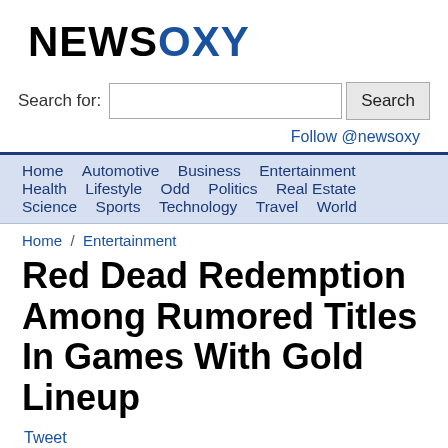[Figure (logo): NEWSOXY logo with NEWS in black and OXY in blue]
Search for:  [search box]  Search
Follow @newsoxy
Home  Automotive  Business  Entertainment  Health  Lifestyle  Odd  Politics  Real Estate  Science  Sports  Technology  Travel  World
Home / Entertainment
Red Dead Redemption Among Rumored Titles In Games With Gold Lineup
Tweet